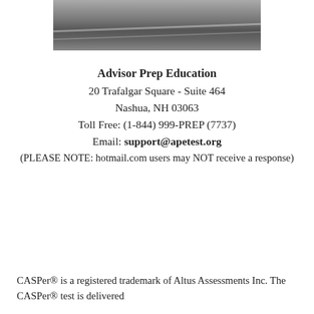[Figure (photo): Partial photo of a road/railway track scene, cropped at top of page]
Advisor Prep Education
20 Trafalgar Square - Suite 464
Nashua, NH 03063
Toll Free: (1-844) 999-PREP (7737)
Email: support@apetest.org
(PLEASE NOTE: hotmail.com users may NOT receive a response)
CASPer® is a registered trademark of Altus Assessments Inc. The CASPer® test is delivered